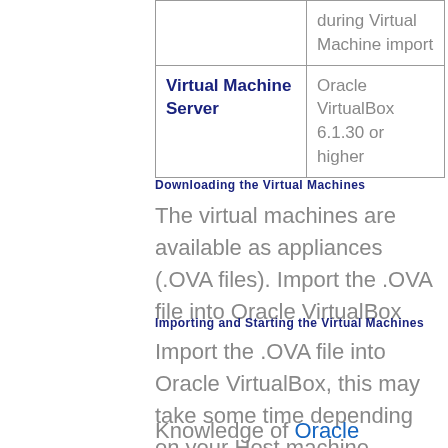|  | during Virtual Machine import |
| Virtual Machine Server | Oracle VirtualBox 6.1.30 or higher |
Downloading the Virtual Machines
The virtual machines are available as appliances (.OVA files). Import the .OVA file into Oracle VirtualBox
Importing and Starting the Virtual Machines
Import the .OVA file into Oracle VirtualBox, this may take some time depending on your Host machine hardware.
Knowledge of Oracle VirtualBox and